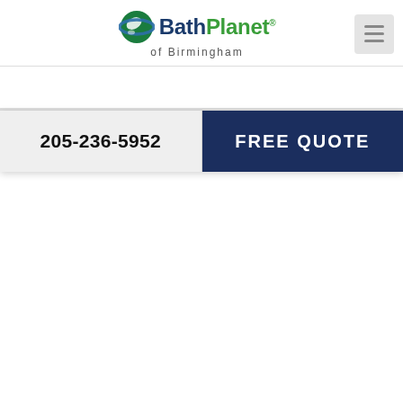[Figure (logo): Bath Planet of Birmingham logo with globe/planet icon]
205-236-5952
FREE QUOTE